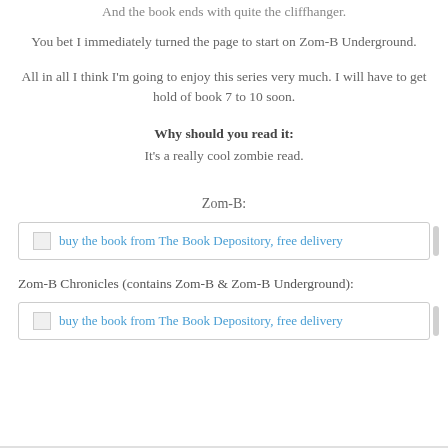And the book ends with quite the cliffhanger.
You bet I immediately turned the page to start on Zom-B Underground.
All in all I think I'm going to enjoy this series very much. I will have to get hold of book 7 to 10 soon.
Why should you read it:
It's a really cool zombie read.
Zom-B:
[Figure (other): Buy the book from The Book Depository, free delivery link button]
Zom-B Chronicles (contains Zom-B & Zom-B Underground):
[Figure (other): Buy the book from The Book Depository, free delivery link button]